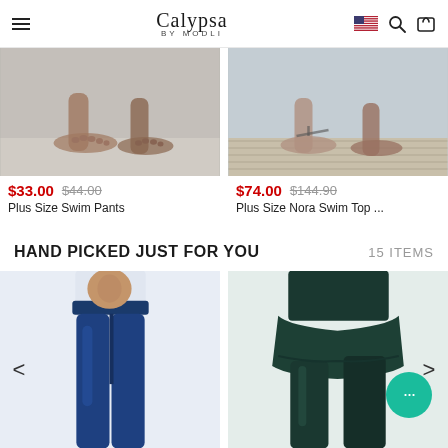Calypsa by Modli
[Figure (photo): Cropped photo of feet/lower legs on light floor, product: Plus Size Swim Pants]
$33.00 $44.00
Plus Size Swim Pants
[Figure (photo): Cropped photo of feet/lower legs on deck background, product: Plus Size Nora Swim Top]
$74.00 $144.90
Plus Size Nora Swim Top ...
HAND PICKED JUST FOR YOU
15 ITEMS
[Figure (photo): Model wearing navy blue swim leggings/pants, full length view, white background]
[Figure (photo): Model wearing dark teal skirted swim pants/leggings, side view, white background]